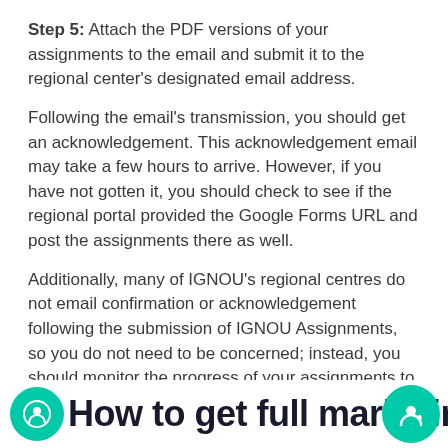Step 5: Attach the PDF versions of your assignments to the email and submit it to the regional center's designated email address.
Following the email's transmission, you should get an acknowledgement. This acknowledgement email may take a few hours to arrive. However, if you have not gotten it, you should check to see if the regional portal provided the Google Forms URL and post the assignments there as well.
Additionally, many of IGNOU's regional centres do not email confirmation or acknowledgement following the submission of IGNOU Assignments, so you do not need to be concerned; instead, you should monitor the progress of your assignments to obtain the result.
How to get full marks in